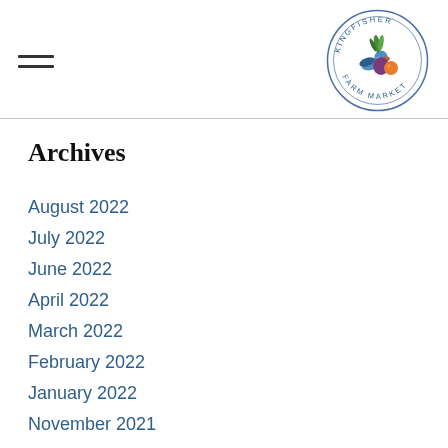[Figure (logo): Kingfisher Farm Market circular logo with a kingfisher bird, beet, and orange, surrounded by text reading KINGFISHER FARM MARKET]
Archives
August 2022
July 2022
June 2022
April 2022
March 2022
February 2022
January 2022
November 2021
October 2021
August 2021
July 2021
June 2021